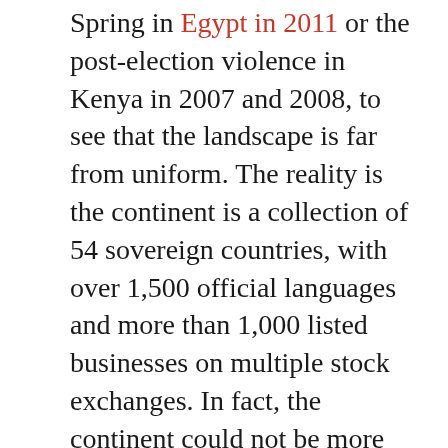Spring in Egypt in 2011 or the post-election violence in Kenya in 2007 and 2008, to see that the landscape is far from uniform. The reality is the continent is a collection of 54 sovereign countries, with over 1,500 official languages and more than 1,000 listed businesses on multiple stock exchanges. In fact, the continent could not be more diverse.